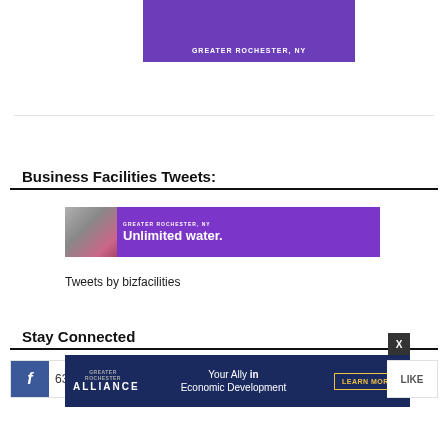[Figure (illustration): Partial purple banner for Greater Rochester, NY at the top of the page]
Business Facilities Tweets:
[Figure (illustration): Advertisement banner: Greater Rochester, NY - Unlimited water. Shows person holding colorful semiconductor wafer on left, purple city skyline background]
Tweets by bizfacilities
Stay Connected
[Figure (illustration): Alliance advertisement: Your Ally in Economic Development - Learn More button, on dark blue background]
63
LIKE